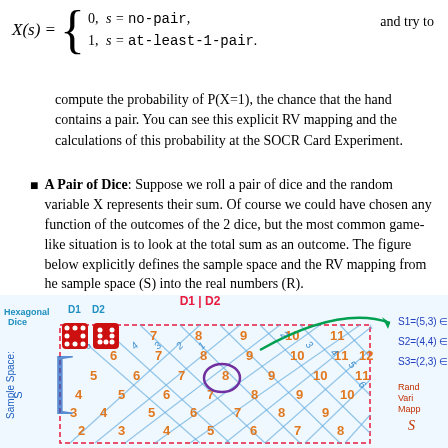compute the probability of P(X=1), the chance that the hand contains a pair. You can see this explicit RV mapping and the calculations of this probability at the SOCR Card Experiment.
A Pair of Dice: Suppose we roll a pair of dice and the random variable X represents their sum. Of course we could have chosen any function of the outcomes of the 2 dice, but the most common game-like situation is to look at the total sum as an outcome. The figure below explicitly defines the sample space and the RV mapping from he sample space (S) into the real numbers (R).
[Figure (illustration): Diagram showing a pair of hexagonal dice (D1 and D2) with a grid of their sums (the sample space S). Numbers 2-12 are displayed in orange across a blue diagonal grid. Labels show S1=(5,3), S2=(4,4), S3=(2,3) on the right. A purple oval highlights the sum 8. Green arrow curves from grid to the S labels. Left axis label reads 'Sample Space: S'. The column D1|D2 is shown in red at top.]